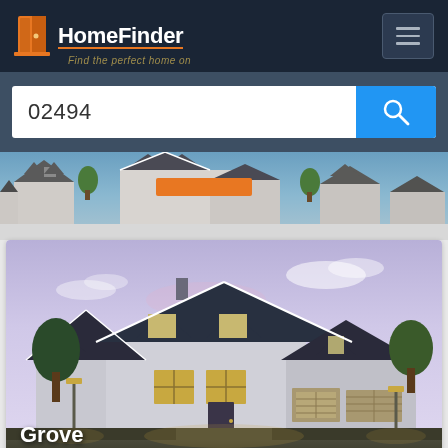HomeFinder
02494
[Figure (screenshot): HomeFinder website screenshot showing navigation bar with logo, hamburger menu, search bar with zip code 02494, a strip of house rooftops, and a listing card showing a large suburban home with the text 'Grove' at the bottom.]